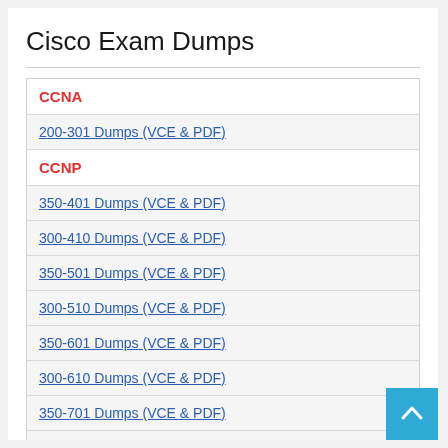Cisco Exam Dumps
CCNA
200-301 Dumps (VCE & PDF)
CCNP
350-401 Dumps (VCE & PDF)
300-410 Dumps (VCE & PDF)
350-501 Dumps (VCE & PDF)
300-510 Dumps (VCE & PDF)
350-601 Dumps (VCE & PDF)
300-610 Dumps (VCE & PDF)
350-701 Dumps (VCE & PDF)
300-710 Dumps (VCE & PDF)
350-801 Dumps (VCE & PDF)
300-810 Dumps (VCE & PDF)